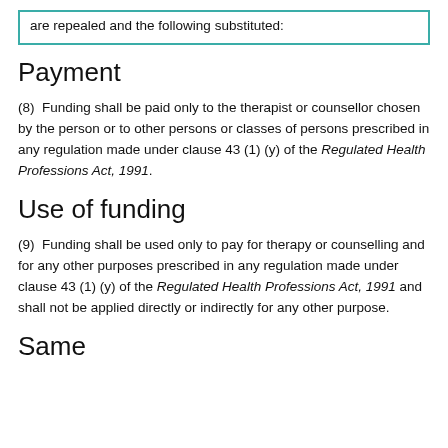are repealed and the following substituted:
Payment
(8)  Funding shall be paid only to the therapist or counsellor chosen by the person or to other persons or classes of persons prescribed in any regulation made under clause 43 (1) (y) of the Regulated Health Professions Act, 1991.
Use of funding
(9)  Funding shall be used only to pay for therapy or counselling and for any other purposes prescribed in any regulation made under clause 43 (1) (y) of the Regulated Health Professions Act, 1991 and shall not be applied directly or indirectly for any other purpose.
Same